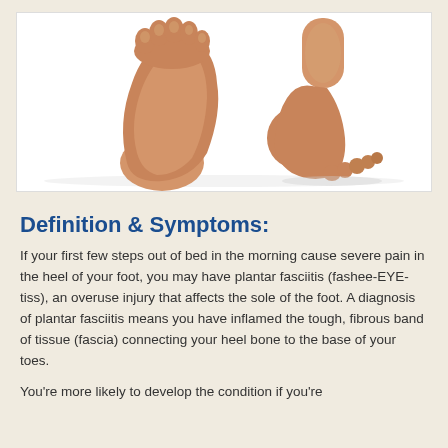[Figure (photo): Two human feet photographed from the side and below on a white background — one foot shown from the sole/arch side, one shown from the back/heel side]
Definition & Symptoms:
If your first few steps out of bed in the morning cause severe pain in the heel of your foot, you may have plantar fasciitis (fashee-EYE-tiss), an overuse injury that affects the sole of the foot. A diagnosis of plantar fasciitis means you have inflamed the tough, fibrous band of tissue (fascia) connecting your heel bone to the base of your toes.
You're more likely to develop the condition if you're